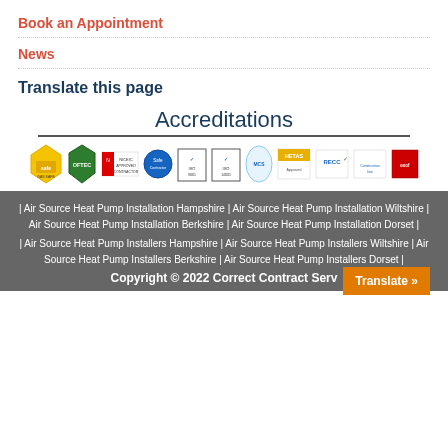Book an Appointment
News
Translate this page
Accreditations
[Figure (logo): Row of accreditation logos: Gas Safe, OFTEC, NICEIC Approved Contractor, SafeContractor, ISO 9001, ISO 14001, MCS, HETAS, RECC, Constructionline, EXOF]
| Air Source Heat Pump Installation Hampshire | Air Source Heat Pump Installation Wiltshire | Air Source Heat Pump Installation Berkshire | Air Source Heat Pump Installation Dorset | | Air Source Heat Pump Installers Hampshire | Air Source Heat Pump Installers Wiltshire | Air Source Heat Pump Installers Berkshire | Air Source Heat Pump Installers Dorset |
Copyright © 2022 Correct Contract Serv
Translate »